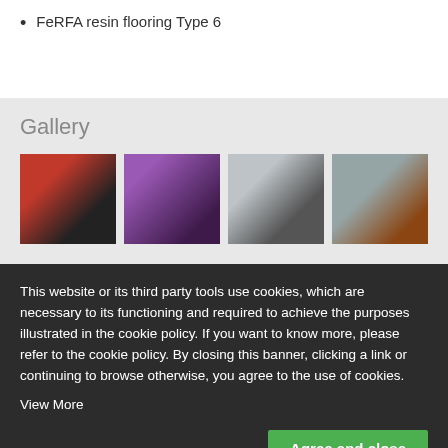FeRFA resin flooring Type 6
Gallery
[Figure (photo): Four gallery images showing resin flooring examples: red car on dark floor, curved staircase with purple lighting, car tire on grey resin floor, and grey aggregate flooring next to wood.]
This website or its third party tools use cookies, which are necessary to its functioning and required to achieve the purposes illustrated in the cookie policy. If you want to know more, please refer to the cookie policy. By closing this banner, clicking a link or continuing to browse otherwise, you agree to the use of cookies. View More
Agree and close